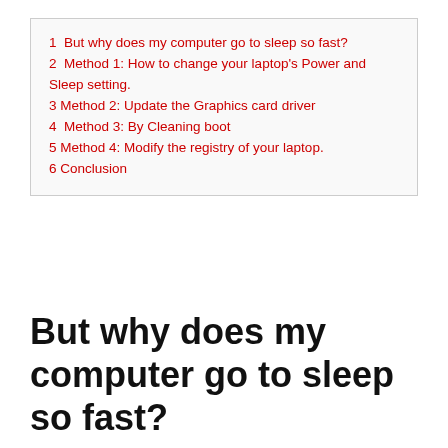1  But why does my computer go to sleep so fast?
2  Method 1: How to change your laptop's Power and Sleep setting.
3 Method 2: Update the Graphics card driver
4  Method 3: By Cleaning boot
5 Method 4: Modify the registry of your laptop.
6 Conclusion
But why does my computer go to sleep so fast?